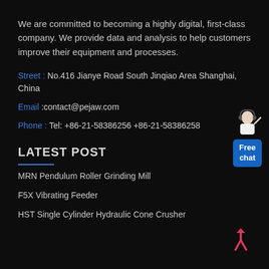We are committed to becoming a highly digital, first-class company. We provide data and analysis to help customers improve their equipment and processes.
Street : No.416 Jianye Road South Jinqiao Area Shanghai, China
Email :contact@pejaw.com
Phone : Tel: +86-21-58386256 +86-21-58386258
[Figure (illustration): Customer service agent illustration with Free chat button]
LATEST POST
MRN Pendulum Roller Grinding Mill
F5X Vibrating Feeder
HST Single Cylinder Hydraulic Cone Crusher
[Figure (illustration): Red upward merge arrow icon]